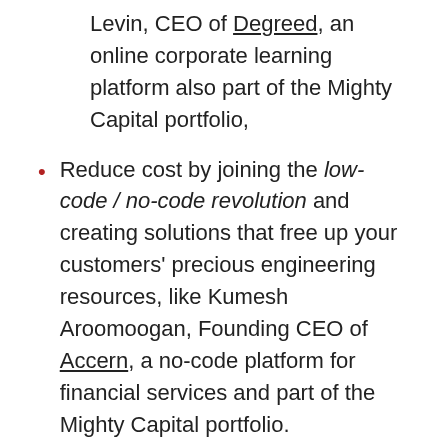Levin, CEO of Degreed, an online corporate learning platform also part of the Mighty Capital portfolio,
Reduce cost by joining the low-code / no-code revolution and creating solutions that free up your customers' precious engineering resources, like Kumesh Aroomoogan, Founding CEO of Accern, a no-code platform for financial services and part of the Mighty Capital portfolio.
“Digital transformations create a perfect storm for entrepreneurs who want to turn the contrarian view that the best product wins into a reality,” says Renee Niemi, one of the first-ever Chief Product Officers (CPO), now CPO of Products That Count, a global product acceleration platform.